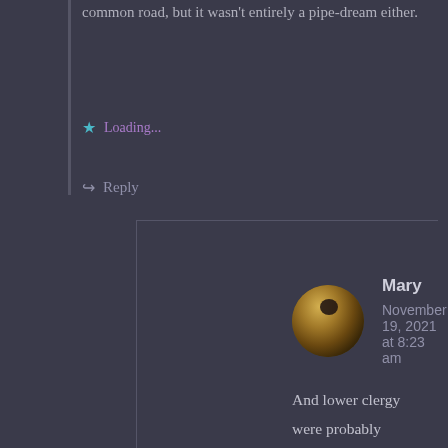common road, but it wasn't entirely a pipe-dream either.
★ Loading...
↪ Reply
Mary
November 19, 2021 at 8:23 am
And lower clergy were probably proportional more, because the higher you went, the more the powerful cared.